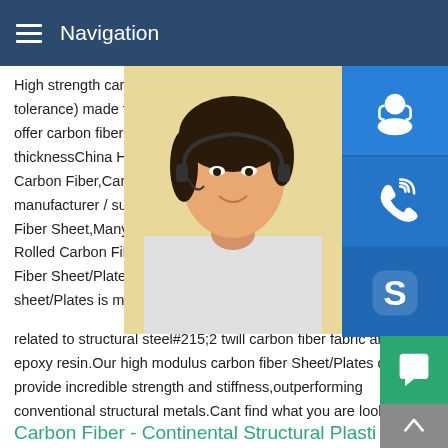Navigation
High strength carbon fiber sheet 2 mm / 0. tolerance) made from 100% real carbon fi offer carbon fiber plate max size to 1000*1 thicknessChina High Strength Carbon Fibe Carbon Fiber,Carbon Fiber Plate,Carbon F manufacturer / supplier in China,offering H Fiber Sheet,Many Sizes Round Carbon Fi Rolled Carbon Fibre Tube/China Factory C Fiber Sheet/Plates - Carbon Fiber StarOur sheet/Plates is made of high strength 2 ca related to structural steel#215;2 twill carbon fiber fabric and epoxy resin.Our high modulus carbon fiber Sheet/Plates could provide incredible strength and stiffness,outperforming conventional structural metals.Cant find what you are looking for?
[Figure (photo): Asian woman with headset smiling, customer service representative]
[Figure (infographic): Blue sidebar icons: customer service headset, phone/call, Skype logo]
[Figure (infographic): Yellow popup overlay with text: MANUAL SE... QUOTING O... Email: bsteel1@163.com]
Carbon Fiber - Continental Structural Plasti